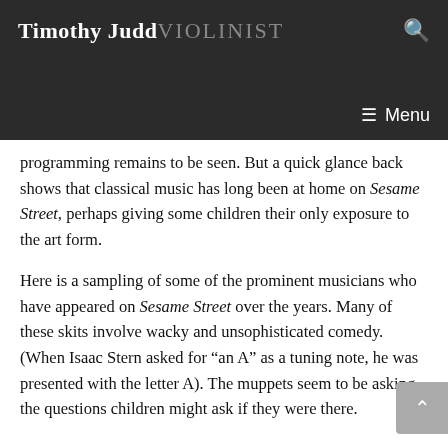Timothy Judd VIOLINIST
programming remains to be seen. But a quick glance back shows that classical music has long been at home on Sesame Street, perhaps giving some children their only exposure to the art form.
Here is a sampling of some of the prominent musicians who have appeared on Sesame Street over the years. Many of these skits involve wacky and unsophisticated comedy. (When Isaac Stern asked for “an A” as a tuning note, he was presented with the letter A). The muppets seem to be asking the questions children might ask if they were there.